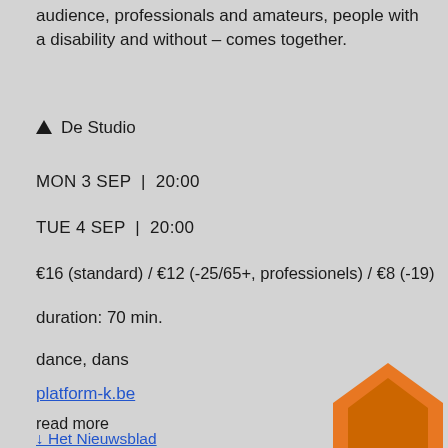audience, professionals and amateurs, people with a disability and without – comes together.
▲ De Studio
MON 3 SEP  |  20:00
TUE 4 SEP  |  20:00
€16 (standard) / €12 (-25/65+, professionels) / €8 (-19)
duration: 70 min.
dance, dans
platform-k.be
read more
↓ Het Nieuwsblad
↓ Het Nieuwsblad
[Figure (illustration): Orange geometric arrow/house shape in bottom right corner]